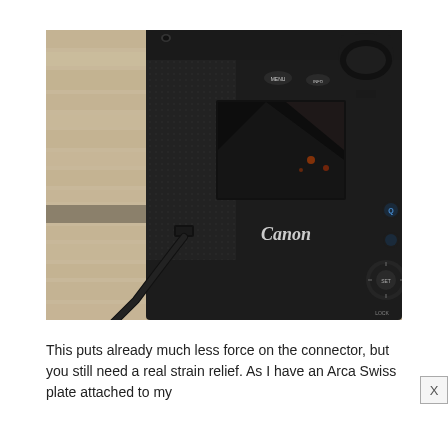[Figure (photo): Photograph of the back of a Canon DSLR camera showing the LCD screen, viewfinder, control buttons, and a USB cable plugged into the left side. The camera is placed on a light wooden surface.]
This puts already much less force on the connector, but you still need a real strain relief. As I have an Arca Swiss plate attached to my...